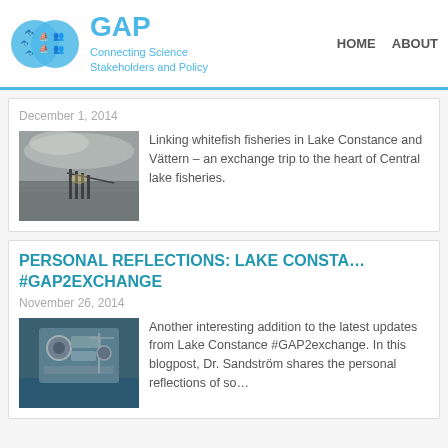GAP – Connecting Science Stakeholders and Policy | HOME | ABOUT
December 1, 2014
[Figure (photo): A lake or pier scene at dusk/dawn with grey cloudy sky reflected on calm water, a dock or pier structure visible in the distance.]
Linking whitefish fisheries in Lake Constance and Vättern – an exchange trip to the heart of Central lake fisheries.
PERSONAL REFLECTIONS: LAKE CONSTA… #GAP2EXCHANGE
November 26, 2014
[Figure (photo): Close-up photo of fishing boat engine or mechanical parts, appearing to be a blue boat hull with machinery.]
Another interesting addition to the latest updates from Lake Constance #GAP2exchange. In this blogpost, Dr. Sandström shares the personal reflections of so…